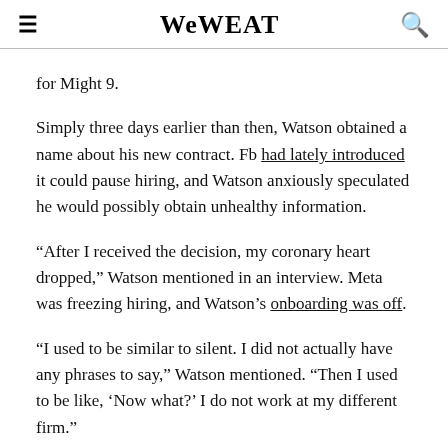WeWEAT
for Might 9.
Simply three days earlier than then, Watson obtained a name about his new contract. Fb had lately introduced it could pause hiring, and Watson anxiously speculated he would possibly obtain unhealthy information.
“After I received the decision, my coronary heart dropped,” Watson mentioned in an interview. Meta was freezing hiring, and Watson’s onboarding was off.
“I used to be similar to silent. I did not actually have any phrases to say,” Watson mentioned. “Then I used to be like, ‘Now what?’ I do not work at my different firm.”
The information left Watson disillusioned, however he